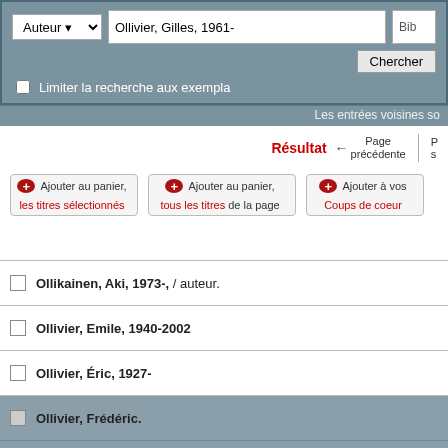[Figure (screenshot): Library catalog search interface with author field showing 'Ollivier, Gilles, 1961-', search button 'Chercher', checkbox for limiting search, and navigation showing 'Résultat' with 'Page précédente' link.]
Ollikainen, Aki, 1973-, / auteur.
Ollivier, Emile, 1940-2002
Ollivier, Éric, 1927-
Ollivier, Frédéric.
Ollivier, Gilles, 1961-
Ollivier, Jean, 1925-2005
Ollivier, Jean-Paul, 1944-